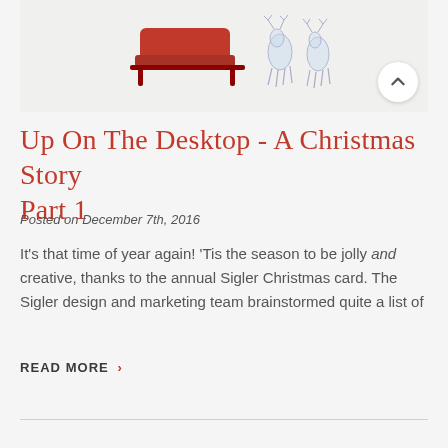[Figure (photo): Photo of a red toy sleigh and crystal/glass reindeer figurines on a light background, partially visible at top of page]
Up On The Desktop - A Christmas Story Part 1
Posted on December 7th, 2016
It's that time of year again! 'Tis the season to be jolly and creative, thanks to the annual Sigler Christmas card. The Sigler design and marketing team brainstormed quite a list of
READ MORE >